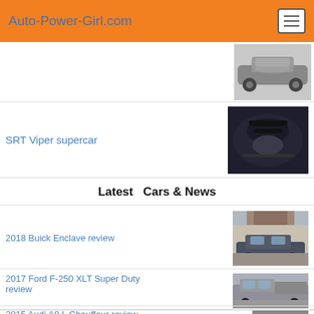Auto-Power-Girl.com
[Figure (photo): Partial view of a race car thumbnail at top right]
SRT Viper supercar
[Figure (photo): SRT Viper hood close-up, dark blue/black]
Latest  Cars & News
2018 Buick Enclave review
[Figure (photo): 2018 Buick Enclave SUV parked in driveway]
2017 Ford F-250 XLT Super Duty review
[Figure (photo): 2017 Ford F-250 XLT Super Duty silver truck]
2015 Audi A8 L Chauffeur review
[Figure (photo): 2015 Audi A8 L partial view]